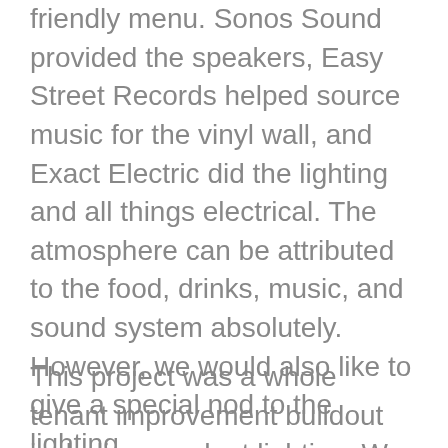friendly menu. Sonos Sound provided the speakers, Easy Street Records helped source music for the vinyl wall, and Exact Electric did the lighting and all things electrical. The atmosphere can be attributed to the food, drinks, music, and sound system absolutely. However, we would also like to give a special nod to the lighting.
This project was a whole tenant improvement buildout including pendant lighting. We lit up the whole area along the bar, and installed all wiring for the kitchen and bathrooms, including the freezer, cooler, and storage. We also helped wire...